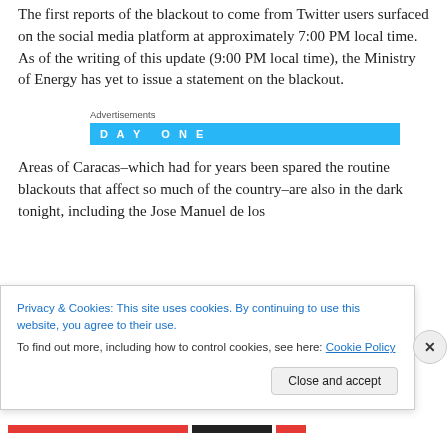The first reports of the blackout to come from Twitter users surfaced on the social media platform at approximately 7:00 PM local time. As of the writing of this update (9:00 PM local time), the Ministry of Energy has yet to issue a statement on the blackout.
Advertisements
[Figure (other): DAY ONE advertisement banner in cyan/blue color]
Areas of Caracas–which had for years been spared the routine blackouts that affect so much of the country–are also in the dark tonight, including the Jose Manuel de los...
Privacy & Cookies: This site uses cookies. By continuing to use this website, you agree to their use.
To find out more, including how to control cookies, see here: Cookie Policy